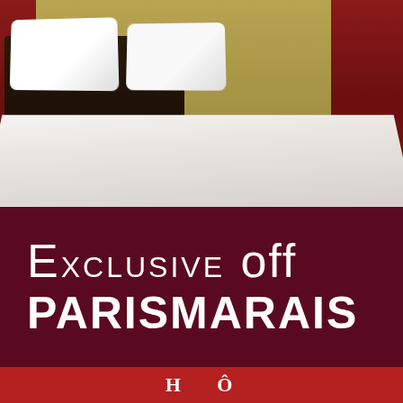[Figure (photo): Hotel room photo showing a neatly made white bed with pillows, dark wood headboard, deep red curtains, and gold/green patterned wallpaper in the background.]
EXCLUSIVE OFFER PARISMARAIS
[Figure (logo): Red banner at the bottom with white text logo]